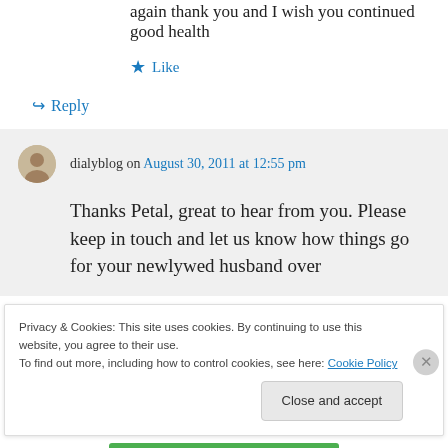again thank you and I wish you continued good health
★ Like
↪ Reply
dialyblog on August 30, 2011 at 12:55 pm
Thanks Petal, great to hear from you. Please keep in touch and let us know how things go for your newlywed husband over
Privacy & Cookies: This site uses cookies. By continuing to use this website, you agree to their use. To find out more, including how to control cookies, see here: Cookie Policy
Close and accept